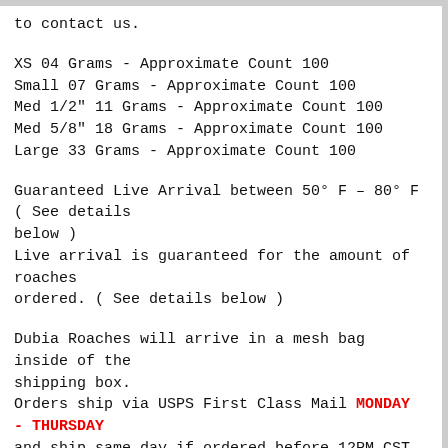to contact us.
XS 04 Grams - Approximate Count 100
Small 07 Grams - Approximate Count 100
Med 1/2" 11 Grams - Approximate Count 100
Med 5/8" 18 Grams - Approximate Count 100
Large 33 Grams - Approximate Count 100
Guaranteed Live Arrival between 50° F – 80° F ( See details below )
Live arrival is guaranteed for the amount of roaches ordered. ( See details below )
Dubia Roaches will arrive in a mesh bag inside of the shipping box.
Orders ship via USPS First Class Mail MONDAY - THURSDAY and ship same day if ordered before 12PM CST. Shipping time is generally two business days. For example if you order on Monday before noon you should have your Dubia